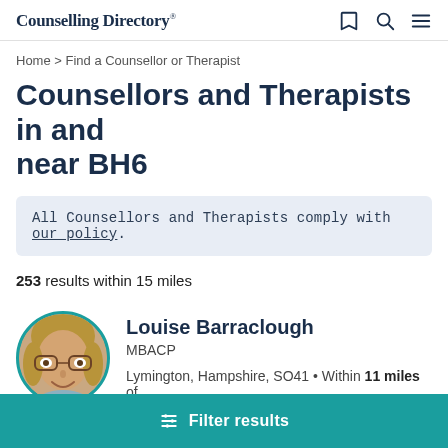Counselling Directory
Home > Find a Counsellor or Therapist
Counsellors and Therapists in and near BH6
All Counsellors and Therapists comply with our policy.
253 results within 15 miles
Louise Barraclough
MBACP
Lymington, Hampshire, SO41 • Within 11 miles of
Filter results